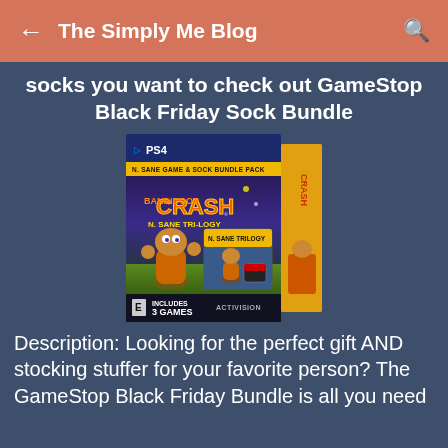The Simply Me Blog
socks you want to check out GameStop Black Friday Sock Bundle
[Figure (photo): Crash Bandicoot N. Sane Trilogy PS4 N. Sane Game & Sock Bundle Pack product box]
Description: Looking for the perfect gift AND stocking stuffer for your favorite person? The GameStop Black Friday Bundle is all you need